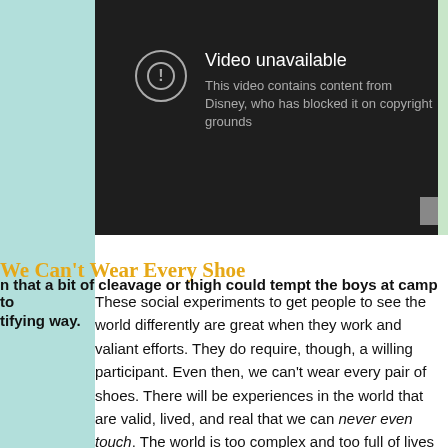[Figure (screenshot): YouTube-style video unavailable screen with dark background. Shows a circle with exclamation mark icon, title 'Video unavailable', and subtitle 'This video contains content from Disney, who has blocked it on copyright grounds'.]
We Can't Wear Every Shoe
n that a bit of cleavage or thigh could tempt the boys at camp to
tifying way.
These social experiments to get people to see the world differently are great when they work and valiant efforts. They do require, though, a willing participant. Even then, we can't wear every pair of shoes. There will be experiences in the world that are valid, lived, and real that we can never even touch. The world is too complex and too full of lives for us to understand them all on a personal level.